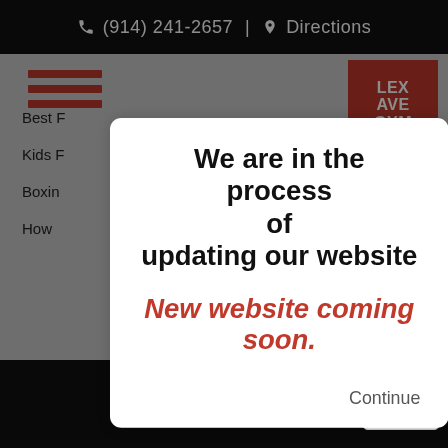(914) 241-2657 | Directions
[Figure (screenshot): Website screenshot with navigation menu (hamburger icon), Lex Ave Gym logo in red top right, partially visible menu items: Best F, Kids F, Boxin, How]
We are in the process of updating our website
New website coming soon.
Continue
[Figure (logo): LEX text logo in red at bottom of page]
[Figure (other): reCAPTCHA badge bottom right with Privacy and Terms links]